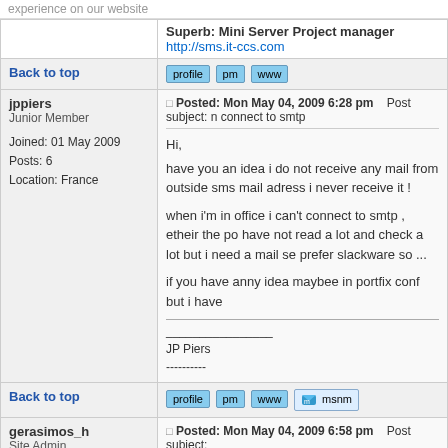experience on our website
Superb: Mini Server Project manager
http://sms.it-ccs.com
Back to top | profile | pm | www
jppiers
Junior Member

Joined: 01 May 2009
Posts: 6
Location: France
Posted: Mon May 04, 2009 6:28 pm   Post subject: n connect to smtp

Hi,
have you an idea i do not receive any mail from outside sms mail adress i never receive it !

when i'm in office i can't connect to smtp , etheir the po have not read a lot and check a lot but i need a mail se prefer slackware so ...

if you have anny idea maybee in portfix conf but i have

________________
JP Piers
----------
Back to top | profile | pm | www | msnm
gerasimos_h
Site Admin

Joined: 09 Aug 2007
Posts: 1757
Location: Greece
Posted: Mon May 04, 2009 6:58 pm   Post subject:

I need more info to be able to help you.
What's you domain?
do a 'postconf -n' for start.